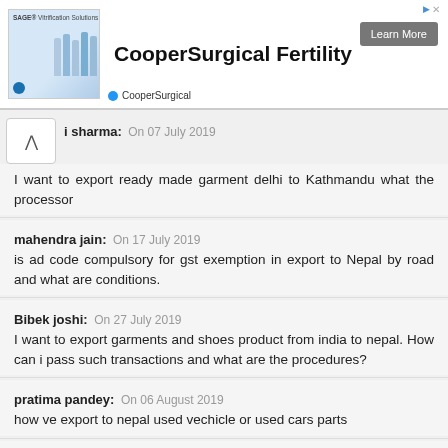[Figure (screenshot): CooperSurgical Fertility advertisement banner with blue medical product image, Learn More button, and CooperSurgical brand name]
i sharma: On 07 July 2019
I want to export ready made garment delhi to Kathmandu what the processor
mahendra jain: On 17 July 2019
is ad code compulsory for gst exemption in export to Nepal by road and what are conditions.
Bibek joshi: On 27 July 2019
I want to export garments and shoes product from india to nepal. How can i pass such transactions and what are the procedures?
pratima pandey: On 06 August 2019
how ve export to nepal used vechicle or used cars parts
Sunil Lama: On 07 September 2019